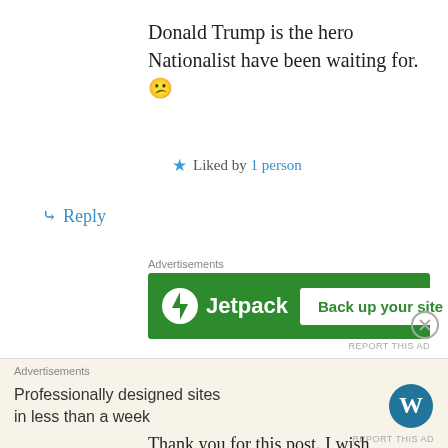Donald Trump is the hero Nationalist have been waiting for. 😕
★ Liked by 1 person
↳ Reply
[Figure (screenshot): Jetpack advertisement banner: green background, Jetpack logo on left, 'Back up your site' white button on right]
Robert Matthew Goldstein on November 20, 2016 at 5:39 am
Thank you for this post. I wish that the people who need to read this had the interest
[Figure (screenshot): WordPress advertisement: 'Professionally designed sites in less than a week' with WordPress logo]